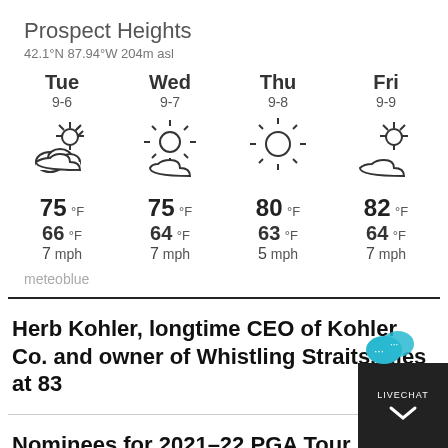Prospect Heights
42.1°N 87.94°W 204m asl
| Tue | Wed | Thu | Fri |
| --- | --- | --- | --- |
| 9-6 | 9-7 | 9-8 | 9-9 |
| [partly cloudy icon] | [partly sunny icon] | [sunny icon] | [partly cloudy icon] |
| 75 °F | 75 °F | 80 °F | 82 °F |
| 66 °F | 64 °F | 63 °F | 64 °F |
| 7 mph | 7 mph | 5 mph | 7 mph |
meteoblue
Herb Kohler, longtime CEO of Kohler Co. and owner of Whistling Straits, dies at 83
Nominees for 2021–22 PGA Tour